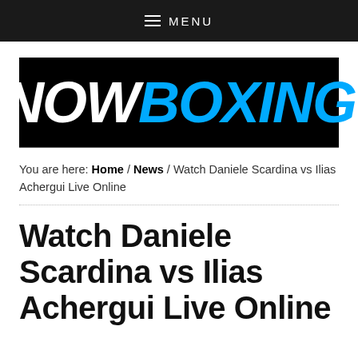MENU
[Figure (logo): Now Boxing logo — black background with 'NOW' in white bold italic and 'BOXING' in cyan/blue bold italic text]
You are here: Home / News / Watch Daniele Scardina vs Ilias Achergui Live Online
Watch Daniele Scardina vs Ilias Achergui Live Online